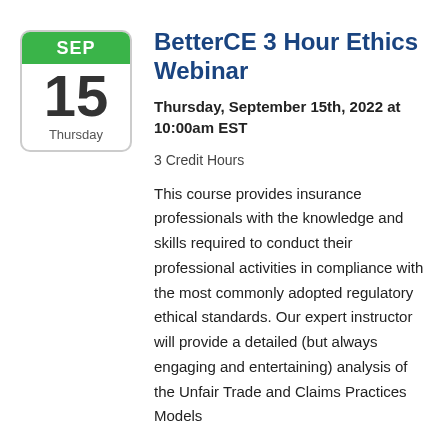[Figure (illustration): Calendar icon showing SEP 15 Thursday]
BetterCE 3 Hour Ethics Webinar
Thursday, September 15th, 2022 at 10:00am EST
3 Credit Hours
This course provides insurance professionals with the knowledge and skills required to conduct their professional activities in compliance with the most commonly adopted regulatory ethical standards. Our expert instructor will provide a detailed (but always engaging and entertaining) analysis of the Unfair Trade and Claims Practices Models